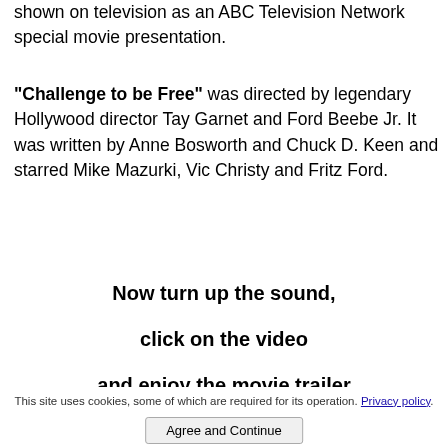shown on television as an ABC Television Network special movie presentation.
“Challenge to be Free” was directed by legendary Hollywood director Tay Garnet and Ford Beebe Jr. It was written by Anne Bosworth and Chuck D. Keen and starred Mike Mazurki, Vic Christy and Fritz Ford.
Now turn up the sound,
click on the video
and enjoy the movie trailer
This site uses cookies, some of which are required for its operation. Privacy policy.
Agree and Continue